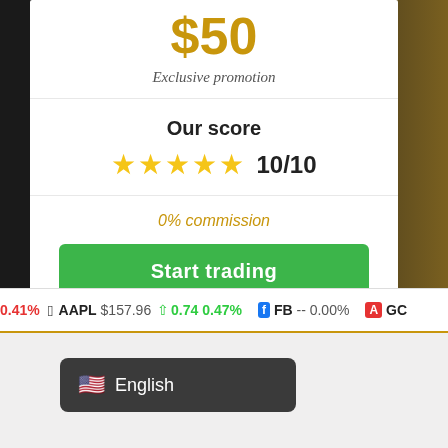$50
Exclusive promotion
Our score
★★★★★ 10/10
0% commission
Start trading
0.41%  AAPL $157.96 ↑ 0.74 0.47%  FB -- 0.00%  GO
English